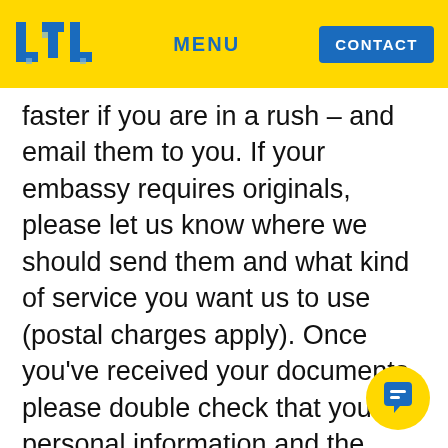LTL | MENU | CONTACT
faster if you are in a rush – and email them to you. If your embassy requires originals, please let us know where we should send them and what kind of service you want us to use (postal charges apply). Once you've received your documents, please double check that your personal information and the course dates are correct.
While there are a lot of dodgy operators and companies offering all kinds of visa services, please be careful: only fully-accredited Chinese language schools like LTL are legally allowed to issue Chinese student visa invitations. To qualify